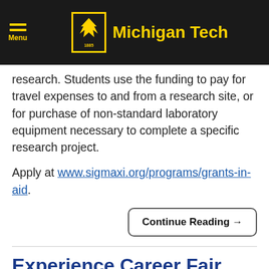Michigan Tech
research. Students use the funding to pay for travel expenses to and from a research site, or for purchase of non-standard laboratory equipment necessary to complete a specific research project.
Apply at www.sigmaxi.org/programs/grants-in-aid.
Continue Reading →
Experience Career Fair This Fall